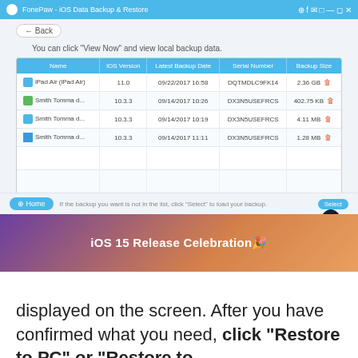[Figure (screenshot): FonePaw iOS Data Backup & Restore application window showing a list of backup files with columns: Name, iOS Version, Latest Backup Date, Serial Number, Backup Size. Entries include iPad Air (iPad Air) with iOS 11.0, and three Smith Tomma d... entries with iOS 10.3.3. A 'View Now' button is shown at the bottom with a home button and select option.]
iOS 15 Release Celebration🎉
displayed on the screen. After you have confirmed what you need, click "Restore to PC" or "Restore to